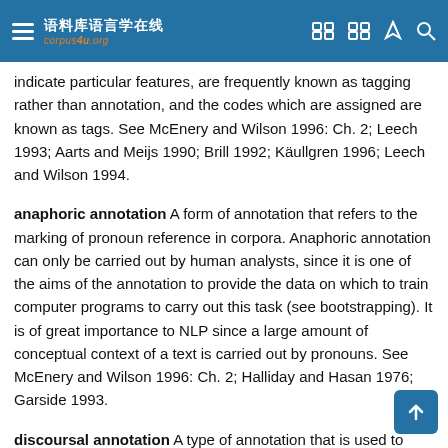语料库语言学在线 corpus4u.org
indicate particular features, are frequently known as tagging rather than annotation, and the codes which are assigned are known as tags. See McEnery and Wilson 1996: Ch. 2; Leech 1993; Aarts and Meijs 1990; Brill 1992; Käullgren 1996; Leech and Wilson 1994.
anaphoric annotation A form of annotation that refers to the marking of pronoun reference in corpora. Anaphoric annotation can only be carried out by human analysts, since it is one of the aims of the annotation to provide the data on which to train computer programs to carry out this task (see bootstrapping). It is of great importance to NLP since a large amount of conceptual context of a text is carried out by pronouns. See McEnery and Wilson 1996: Ch. 2; Halliday and Hasan 1976; Garside 1993.
discoursal annotation A type of annotation that is used to annotate items whose role in the discourse is primarily to do with discourse management (i.e. politeness, level of formality etc.) rather than with propositional content. Discoursal